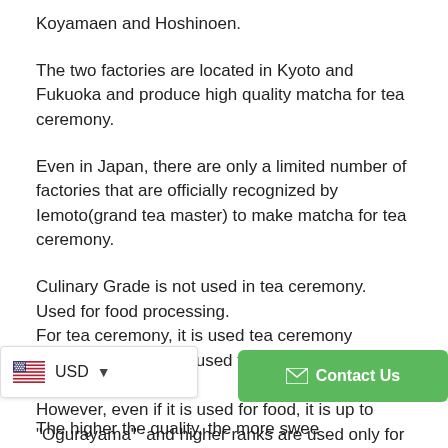Koyamaen and Hoshinoen.
The two factories are located in Kyoto and Fukuoka and produce high quality matcha for tea ceremony.
Even in Japan, there are only a limited number of factories that are officially recognized by Iemoto(grand tea master) to make matcha for tea ceremony.
Culinary Grade is not used in tea ceremony.
Used for food processing.
For tea ceremony, it is used tea ceremony matcha, but it is also used for making high quality food.
However, even if it is used for food, it is up to "Ogurayama" and higher ranks are used only for ordinary
The higher the quality, the more swee...